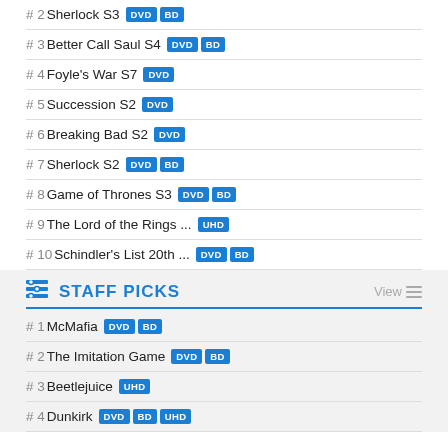# 2 Sherlock S3 DVD BD
# 3 Better Call Saul S4 DVD BD
# 4 Foyle's War S7 DVD
# 5 Succession S2 DVD
# 6 Breaking Bad S2 DVD
# 7 Sherlock S2 DVD BD
# 8 Game of Thrones S3 DVD BD
# 9 The Lord of the Rings ... UHD
# 10 Schindler's List 20th ... DVD BD
STAFF PICKS
# 1 McMafia DVD BD
# 2 The Imitation Game DVD BD
# 3 Beetlejuice UHD
# 4 Dunkirk DVD BD UHD